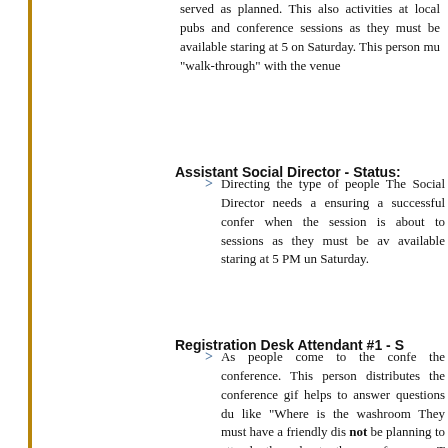served as planned. This also activities at local pubs and conference sessions as they must be available staring at 5 on Saturday. This person mu "walk-through" with the venue
Assistant Social Director - Status:
Directing the type of people The Social Director needs a ensuring a successful confer when the session is about to sessions as they must be av available staring at 5 PM un Saturday.
Registration Desk Attendant #1 - S
As people come to the confe the conference. This person distributes the conference gif helps to answer questions du like "Where is the washroom They must have a friendly dis not be planning to attend throughout the conference. T Friday, and starting at 8 AM